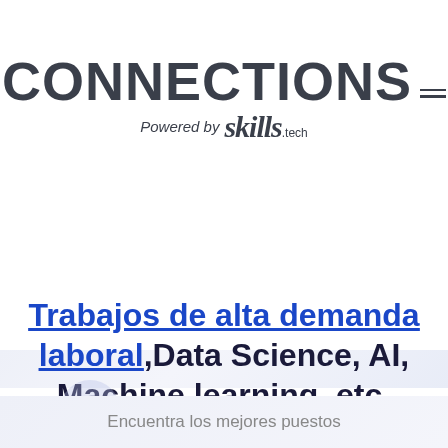[Figure (logo): CONNECTIONS logo with hamburger menu icon and 'Powered by skills.tech' tagline below]
Trabajos de alta demanda laboral,Data Science, AI, Machine learning, etc.
Encuentra los mejores puestos